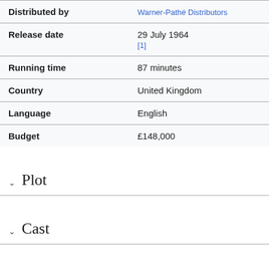| Field | Value |
| --- | --- |
| Distributed by | Warner-Pathé Distributors |
| Release date | 29 July 1964
[1] |
| Running time | 87 minutes |
| Country | United Kingdom |
| Language | English |
| Budget | £148,000 |
Plot
Cast
Crew